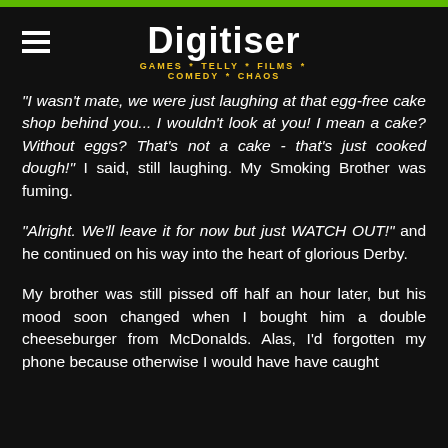Digitiser — GAMES * TELLY * FILMS * COMEDY * CHAOS
"I wasn't mate, we were just laughing at that egg-free cake shop behind you... I wouldn't look at you! I mean a cake? Without eggs? That's not a cake - that's just cooked dough!" I said, still laughing. My Smoking Brother was fuming.
"Alright. We'll leave it for now but just WATCH OUT!" and he continued on his way into the heart of glorious Derby.
My brother was still pissed off half an hour later, but his mood soon changed when I bought him a double cheeseburger from McDonalds. Alas, I'd forgotten my phone because otherwise I would have have caught all this for you. You know what this Friday...